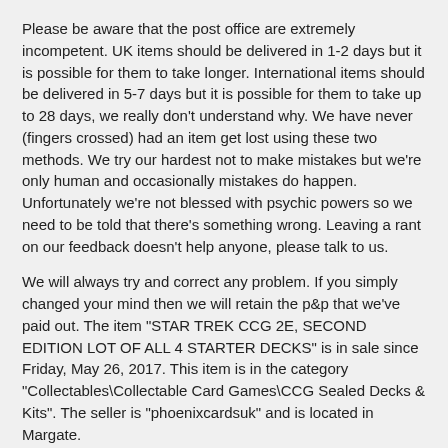Please be aware that the post office are extremely incompetent. UK items should be delivered in 1-2 days but it is possible for them to take longer. International items should be delivered in 5-7 days but it is possible for them to take up to 28 days, we really don't understand why. We have never (fingers crossed) had an item get lost using these two methods. We try our hardest not to make mistakes but we're only human and occasionally mistakes do happen.
Unfortunately we're not blessed with psychic powers so we need to be told that there's something wrong. Leaving a rant on our feedback doesn't help anyone, please talk to us.
We will always try and correct any problem. If you simply changed your mind then we will retain the p&p that we've paid out. The item "STAR TREK CCG 2E, SECOND EDITION LOT OF ALL 4 STARTER DECKS" is in sale since Friday, May 26, 2017. This item is in the category "Collectables\Collectable Card Games\CCG Sealed Decks & Kits". The seller is "phoenixcardsuk" and is located in Margate.
This item can be shipped worldwide.
Country/Region of Manufacture: United States